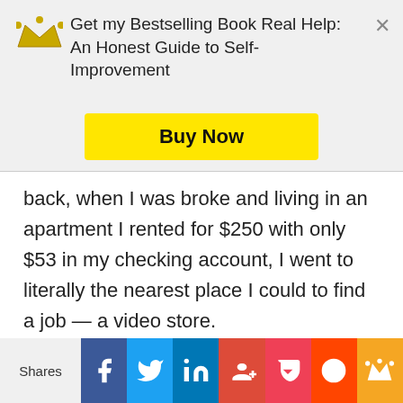[Figure (other): Promotional banner: crown icon, text 'Get my Bestselling Book Real Help: An Honest Guide to Self-Improvement', yellow 'Buy Now' button, and X close button]
back, when I was broke and living in an apartment I rented for $250 with only $53 in my checking account, I went to literally the nearest place I could to find a job — a video store.
When I applied for the job, the manager saw something in me. She asked me to train to become the manager of the store. I thought I'd just apply to be a clerk, make minimum
[Figure (other): Social sharing bar with icons: Facebook, Twitter, LinkedIn, Google+, Pocket, Reddit, crown/bookmark]